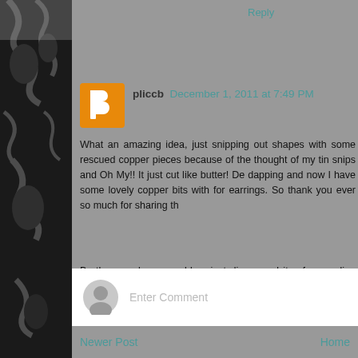Reply
pliccb  December 1, 2011 at 7:49 PM
What an amazing idea, just snipping out shapes with some rescued copper pieces because of the thought of my tin snips and Oh My!! It just cut like butter! De dapping and now I have some lovely copper bits with for earrings. So thank you ever so much for sharing th
By the way, love your blog, just discovered it a few reading and trying to not wake my Honey up when I e
And I love your use of color and texture in your work.
Carol
Reply
Enter Comment
Newer Post
Home